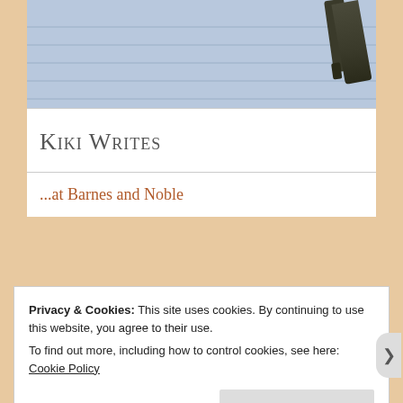[Figure (photo): Photo of a lined notepad with a dark pen resting on it, light blue tones]
Kiki Writes
...at Barnes and Noble
Privacy & Cookies: This site uses cookies. By continuing to use this website, you agree to their use.
To find out more, including how to control cookies, see here: Cookie Policy
Close and accept